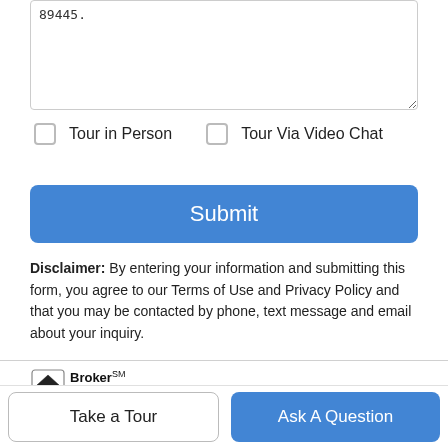89445.
Tour in Person
Tour Via Video Chat
Submit
Disclaimer: By entering your information and submitting this form, you agree to our Terms of Use and Privacy Policy and that you may be contacted by phone, text message and email about your inquiry.
[Figure (logo): Broker Reciprocity logo with house icon]
© 2022 Northern Nevada Regional Multiple Listing Service® MLS.
All rights reserved. All information deemed reliable but not guaranteed.
Take a Tour
Ask A Question